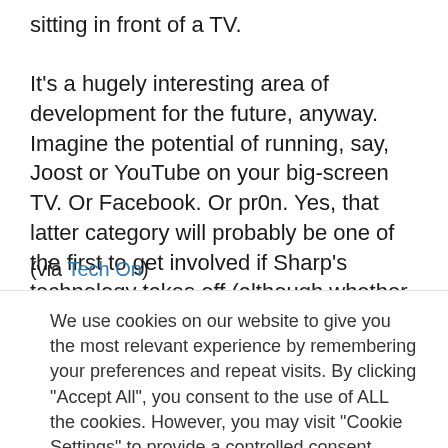sitting in front of a TV.

It's a hugely interesting area of development for the future, anyway. Imagine the potential of running, say, Joost or YouTube on your big-screen TV. Or Facebook. Or pr0n. Yes, that latter category will probably be one of the first to get involved if Sharp's technology takes off (although whether Sharp will be quite so keen is another matter).
(via Tech On)
We use cookies on our website to give you the most relevant experience by remembering your preferences and repeat visits. By clicking "Accept All", you consent to the use of ALL the cookies. However, you may visit "Cookie Settings" to provide a controlled consent.
Cookie Settings | Accept All